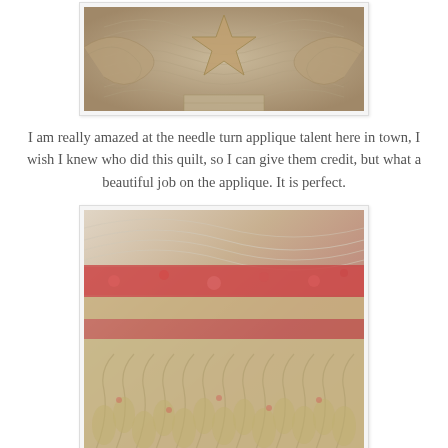[Figure (photo): Close-up photograph of a quilt showing needle turn applique work with a star shape, in muted tan and beige tones with textured quilting]
I am really amazed at the needle turn applique talent here in town, I wish I knew who did this quilt, so I can give them credit, but what a beautiful job on the applique. It is perfect.
[Figure (photo): Close-up photograph of a quilt showing feather quilting patterns in tan/cream fabric with pink floral print strips, demonstrating elaborate feather quilting technique]
I am having fun with feathers lately, I look back at how scared I was to even try to do feathers, but now I love it and can't wait to quilt. I hope to get better and try more things